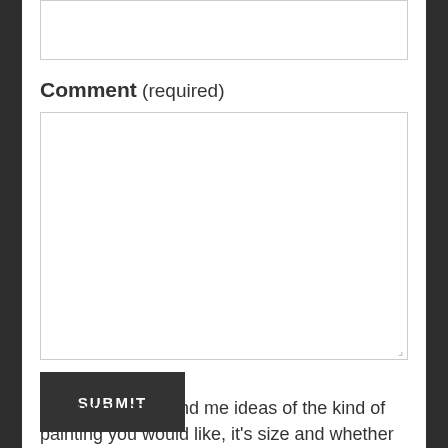Comment (required)
SUBMIT
There you can send me ideas of the kind of painting you would like, it's size and whether you would like it for...